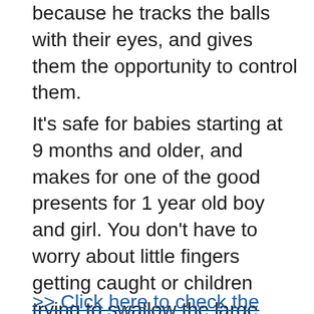because he tracks the balls with their eyes, and gives them the opportunity to control them.
It's safe for babies starting at 9 months and older, and makes for one of the good presents for 1 year old boy and girl. You don’t have to worry about little fingers getting caught or children trying to swallow the large balls. It’s loud, fun, and exciting, and every child that plays with it loves it. The best part? The Busy Ball Popper allows a parent to get a break!
>> Click here to check the price and to read